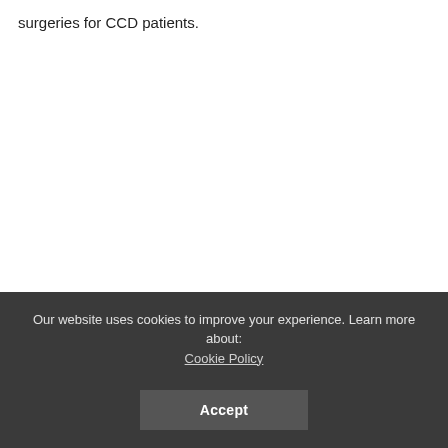surgeries for CCD patients.
Our website uses cookies to improve your experience. Learn more about: Cookie Policy
Accept